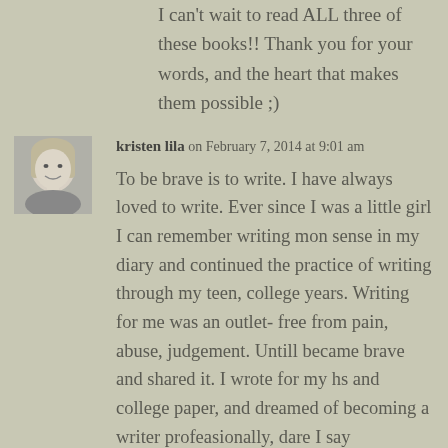I can't wait to read ALL three of these books!! Thank you for your words, and the heart that makes them possible ;)
[Figure (photo): Black and white profile photo of a woman with short blonde hair, smiling]
kristen lila on February 7, 2014 at 9:01 am
To be brave is to write. I have always loved to write. Ever since I was a little girl I can remember writing mon sense in my diary and continued the practice of writing through my teen, college years. Writing for me was an outlet- free from pain, abuse, judgement. Untill became brave and shared it. I wrote for my hs and college paper, and dreamed of becoming a writer profeasionally, dare I say